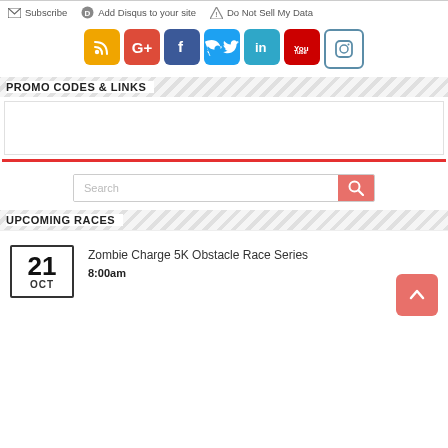Subscribe | Add Disqus to your site | Do Not Sell My Data
[Figure (infographic): Row of social media icon buttons: RSS (orange), Google+ (red), Facebook (blue), Twitter (light blue), LinkedIn (teal), YouTube (red), Instagram (teal-outlined)]
PROMO CODES & LINKS
[Figure (other): Empty white promo codes box with red bottom border line]
[Figure (other): Search input box with pink/salmon search button and magnifying glass icon]
UPCOMING RACES
Zombie Charge 5K Obstacle Race Series
8:00am